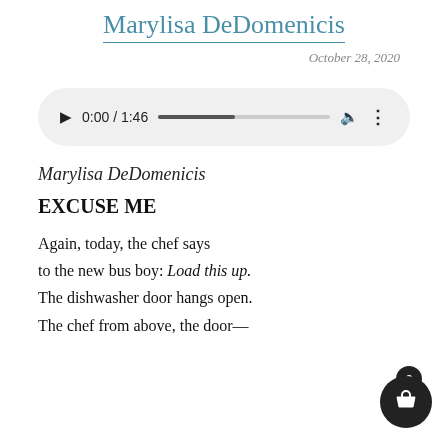Marylisa DeDomenicis
October 28, 2020
[Figure (other): Audio player widget showing 0:00 / 1:46 with a progress bar, volume and more options icons]
Marylisa DeDomenicis
EXCUSE ME
Again, today, the chef says
to the new bus boy: Load this up.
The dishwasher door hangs open.
The chef from above, the door—